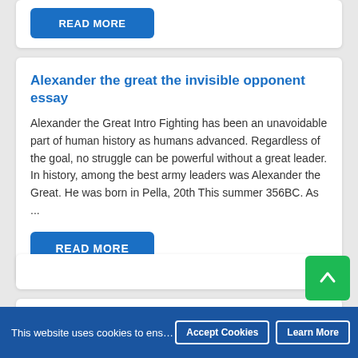[Figure (screenshot): Partial top card showing a blue READ MORE button at the top of the page]
Alexander the great the invisible opponent essay
Alexander the Great Intro Fighting has been an unavoidable part of human history as humans advanced. Regardless of the goal, no struggle can be powerful without a great leader. In history, among the best army leaders was Alexander the Great. He was born in Pella, 20th This summer 356BC. As ...
[Figure (screenshot): Blue READ MORE button]
Tags
College degree
Several hours
This website uses cookies to ensure you have the best exper... Accept Cookies  Learn More